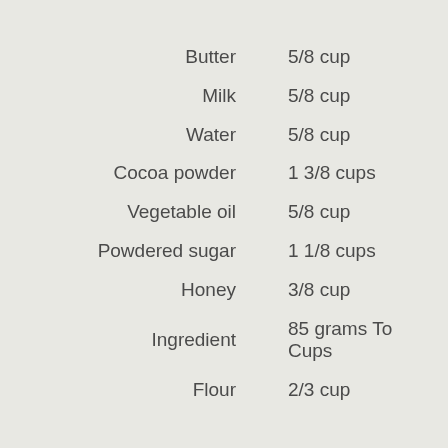| Ingredient | Amount |
| --- | --- |
| Butter | 5/8 cup |
| Milk | 5/8 cup |
| Water | 5/8 cup |
| Cocoa powder | 1 3/8 cups |
| Vegetable oil | 5/8 cup |
| Powdered sugar | 1 1/8 cups |
| Honey | 3/8 cup |
| Ingredient | 85 grams To Cups |
| Flour | 2/3 cup |